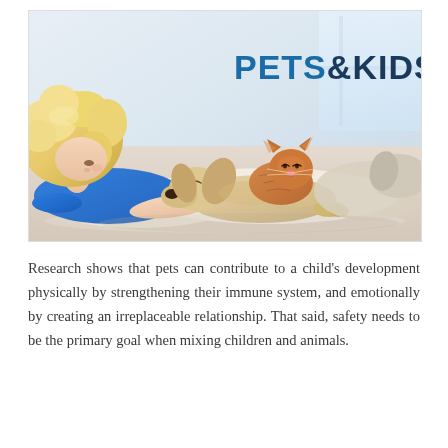[Figure (photo): A young blonde child in a blue shirt lying on a white surface, looking at a sleeping golden retriever puppy and an orange kitten cuddled together. The text 'PETS&KIDS' appears overlaid in blue on the right side of the image.]
Research shows that pets can contribute to a child's development physically by strengthening their immune system, and emotionally by creating an irreplaceable relationship. That said, safety needs to be the primary goal when mixing children and animals.